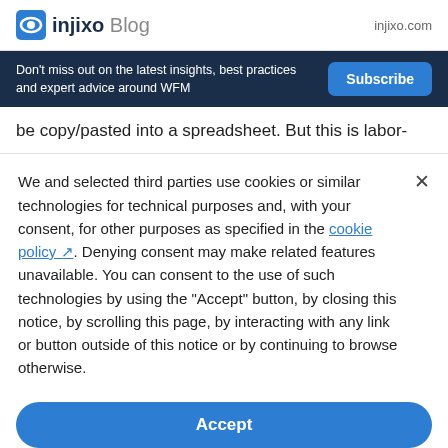injixo Blog  injixo.com
Don't miss out on the latest insights, best practices and expert advice around WFM  Subscribe
be copy/pasted into a spreadsheet. But this is labor-
We and selected third parties use cookies or similar technologies for technical purposes and, with your consent, for other purposes as specified in the cookie policy. Denying consent may make related features unavailable. You can consent to the use of such technologies by using the "Accept" button, by closing this notice, by scrolling this page, by interacting with any link or button outside of this notice or by continuing to browse otherwise.
Accept
Learn more and customize